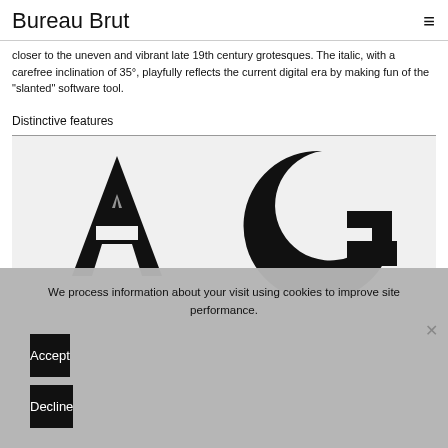Bureau Brut
closer to the uneven and vibrant late 19th century grotesques. The italic, with a carefree inclination of 35°, playfully reflects the current digital era by making fun of the "slanted" software tool.
Distinctive features
[Figure (illustration): Large display letterforms 'A' and 'G' in a grotesque/sans-serif typeface shown on a light grey background, demonstrating distinctive features of the Bureau Brut typeface.]
We process information about your visit using cookies to improve site performance.
Accept
Decline